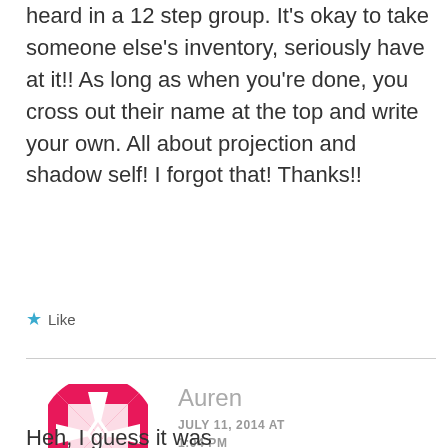heard in a 12 step group. It's okay to take someone else's inventory, seriously have at it!! As long as when you're done, you cross out their name at the top and write your own. All about projection and shadow self! I forgot that! Thanks!!
★ Like
[Figure (logo): Circular decorative avatar icon with pink/red geometric pinwheel pattern composed of triangles and diamond shapes]
Auren
JULY 11, 2014 AT 1:04 PM
Heh, I guess it was